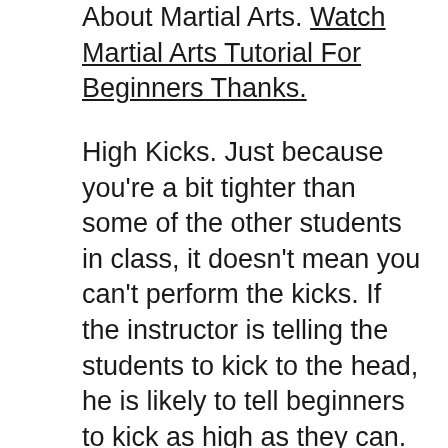About Martial Arts. Watch Martial Arts Tutorial For Beginners Thanks.
High Kicks. Just because you're a bit tighter than some of the other students in class, it doesn't mean you can't perform the kicks. If the instructor is telling the students to kick to the head, he is likely to tell beginners to kick as high as they can. Whether you're kicking over your head … Kicking high puts demands on your dynamic flexibility, Splits put demands on your static flexibility. They are not the same but are very closely related. The problem most people have with high kicks isn't getting the leg up higher … it's deliverin...